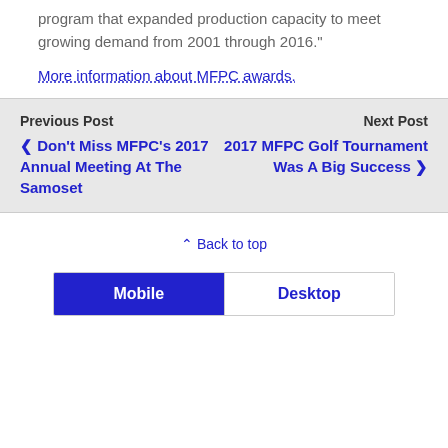program that expanded production capacity to meet growing demand from 2001 through 2016."
More information about MFPC awards.
Previous Post
Next Post
❮ Don't Miss MFPC's 2017 Annual Meeting At The Samoset
2017 MFPC Golf Tournament Was A Big Success ❯
⌃ Back to top
Mobile  Desktop